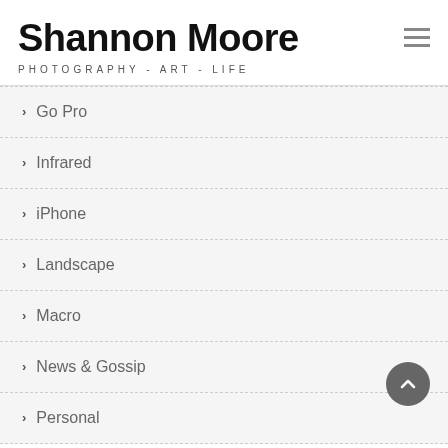Shannon Moore
PHOTOGRAPHY - ART - LIFE
Go Pro
Infrared
iPhone
Landscape
Macro
News & Gossip
Personal